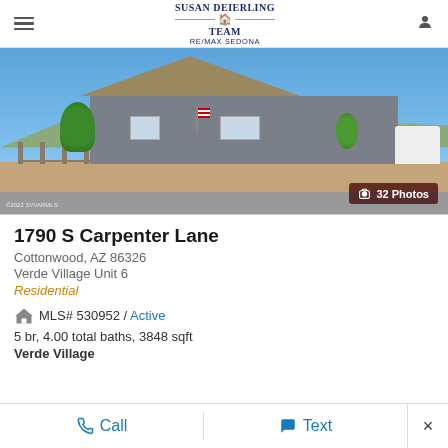Susan Deierling Team RE/MAX Sedona
[Figure (photo): Exterior photo of a single-story gray house with gabled roof, iron fence with stone pillars, trees, and blue sky background. Badge shows '32 Photos'. Copyright '©2022 SVVARMLS'.]
1790 S Carpenter Lane
Cottonwood, AZ 86326
Verde Village Unit 6
Residential
MLS# 530952 / Active
5 br, 4.00 total baths, 3848 sqft
Verde Village
Call | Text | ×